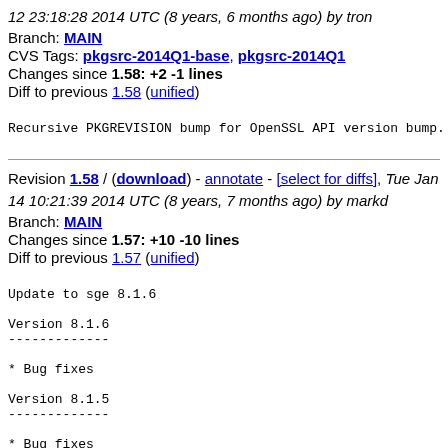12 23:18:28 2014 UTC (8 years, 6 months ago) by tron
Branch: MAIN
CVS Tags: pkgsrc-2014Q1-base, pkgsrc-2014Q1
Changes since 1.58: +2 -1 lines
Diff to previous 1.58 (unified)
Recursive PKGREVISION bump for OpenSSL API version bump.
Revision 1.58 / (download) - annotate - [select for diffs], Tue Jan 14 10:21:39 2014 UTC (8 years, 7 months ago) by markd
Branch: MAIN
Changes since 1.57: +10 -10 lines
Diff to previous 1.57 (unified)
Update to sge 8.1.6

Version 8.1.6
-------------

* Bug fixes

Version 8.1.5
-------------

* Bug fixes

Version 8.1.4